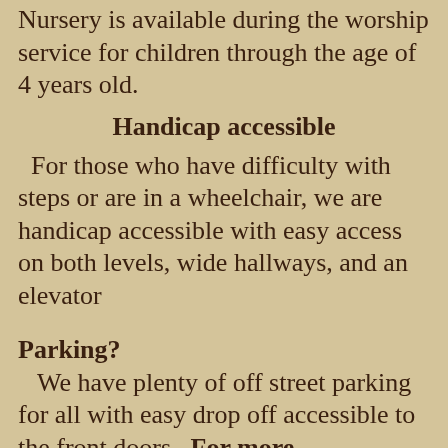Nursery is available during the worship service for children through the age of 4 years old.
Handicap accessible
For those who have difficulty with steps or are in a wheelchair, we are handicap accessible with easy access on both levels, wide hallways, and an elevator
Parking?
We have plenty of off street parking for all with easy drop off accessible to the front doors   For more information